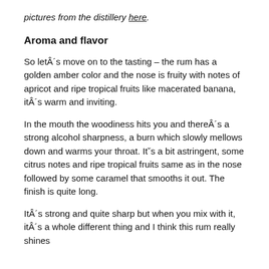pictures from the distillery here.
Aroma and flavor
So letÂ´s move on to the tasting – the rum has a golden amber color and the nose is fruity with notes of apricot and ripe tropical fruits like macerated banana, itÂ´s warm and inviting.
In the mouth the woodiness hits you and thereÂ´s a strong alcohol sharpness, a burn which slowly mellows down and warms your throat. It˘s a bit astringent, some citrus notes and ripe tropical fruits same as in the nose followed by some caramel that smooths it out. The finish is quite long.
ItÂ´s strong and quite sharp but when you mix with it, itÂ´s a whole different thing and I think this rum really shines blended. ItÂ´s a whole different story then.